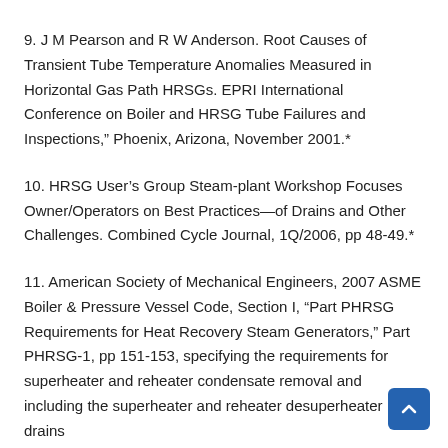9. J M Pearson and R W Anderson. Root Causes of Transient Tube Temperature Anomalies Measured in Horizontal Gas Path HRSGs. EPRI International Conference on Boiler and HRSG Tube Failures and Inspections," Phoenix, Arizona, November 2001.*
10. HRSG User’s Group Steam-plant Workshop Focuses Owner/Operators on Best Practices—of Drains and Other Challenges. Combined Cycle Journal, 1Q/2006, pp 48-49.*
11. American Society of Mechanical Engineers, 2007 ASME Boiler & Pressure Vessel Code, Section I, “Part PHRSG Requirements for Heat Recovery Steam Generators,” Part PHRSG-1, pp 151-153, specifying the requirements for superheater and reheater condensate removal and including the superheater and reheater desuperheater drains